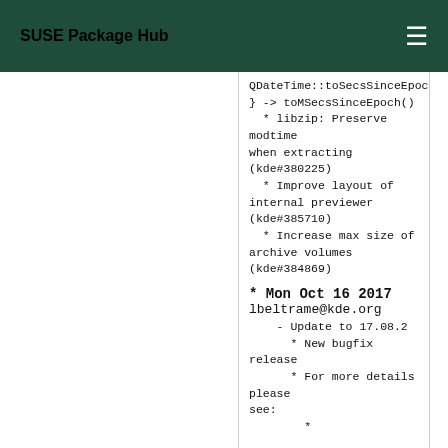SUSE Package Hub
QDateTime::toSecsSinceEpoch(
} -> toMSecsSinceEpoch()
  * libzip: Preserve modtime when extracting (kde#380225)
  * Improve layout of internal previewer (kde#385710)
  * Increase max size of archive volumes (kde#384869)
* Mon Oct 16 2017
lbeltrame@kde.org
    - Update to 17.08.2
      * New bugfix release
      * For more details please see:
        *
        https://www.kde.org/announcements/announce-applications-17.08.2.php
    - Changes since 17.08.1:
      * None
* Thu Sep 07 2017
lbeltrame@kde.org
    - Update to 17.08.1
      * New bugfix release
      * For more details please see:
        *
        https://www.kde.org/announce
ments/announce-applications-